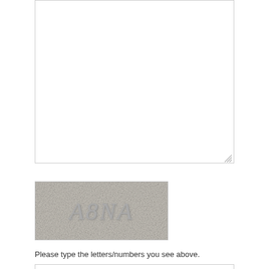[Figure (screenshot): Textarea input box with resize handle in bottom-right corner]
[Figure (screenshot): CAPTCHA image showing text 'A8NA' on a speckled gray background]
Please type the letters/numbers you see above.
[Figure (screenshot): Text input field for CAPTCHA answer]
[Figure (screenshot): Submit button with light gray background]
[Figure (logo): TDWI logo with dots above the letters]